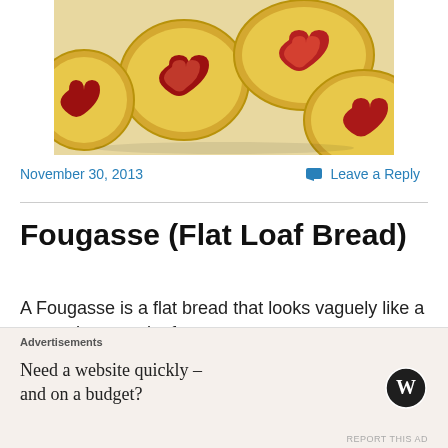[Figure (photo): Heart-shaped jam cookies or pastries with red jam filling, golden pastry crust, viewed from above on a plate]
November 30, 2013
Leave a Reply
Fougasse (Flat Loaf Bread)
A Fougasse is a flat bread that looks vaguely like a snow shoe or a leaf
Makes 4 small loafs
Advertisements
Need a website quickly – and on a budget?